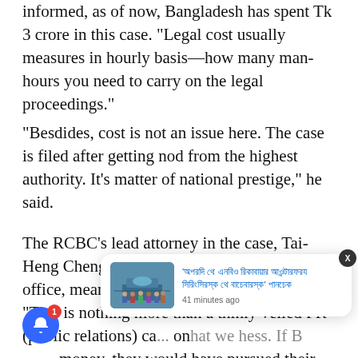informed, as of now, Bangladesh has spent Tk 3 crore in this case. "Legal cost usually measures in hourly basis—how many man-hours you need to carry on the legal proceedings."
"Besdides, cost is not an issue here. The case is filed after getting nod from the highest authority. It's matter of national prestige," he said.
The RCBC's lead attorney in the case, Tai-Heng Cheng, a partner at the firm's New York office, meanwhile told the Daily Inquirer: "This is nothing more than a thinly veiled PR (public relations) ca... on that we h... ess. If Bl... money, they would have pursued their claims
[Figure (screenshot): Notification popup showing a Bengali language news headline with a photo of people/crowd, timestamped '41 minutes ago', with a close button (X) and blue notification bell button with badge showing '1']